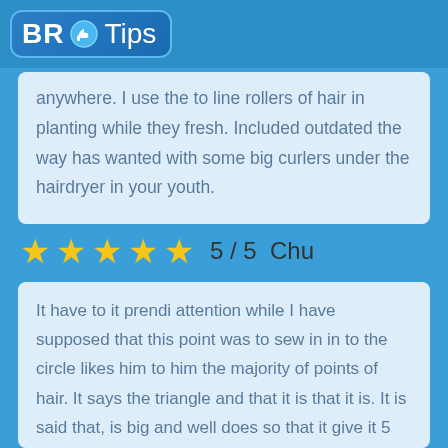BR Tips
anywhere. I use the to line rollers of hair in planting while they fresh. Included outdated the way has wanted with some big curlers under the hairdryer in your youth.
5 / 5   Chu
It have to it prendi attention while I have supposed that this point was to sew in in to the circle likes him to him the majority of points of hair. It says the triangle and that it is that it is. It is said that, is big and well does so that it give it 5 stars of an error was mine.